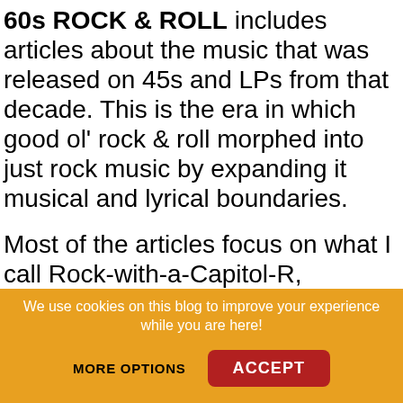60s ROCK & ROLL includes articles about the music that was released on 45s and LPs from that decade. This is the era in which good ol' rock & roll morphed into just rock music by expanding it musical and lyrical boundaries.
Most of the articles focus on what I call Rock-with-a-Capitol-R, including folk-rock, psychedelia, and the then-novel concept of the concept album. Discographies and price guides are included in some articles.
We use cookies on this blog to improve your experience while you are here!
MORE OPTIONS
ACCEPT